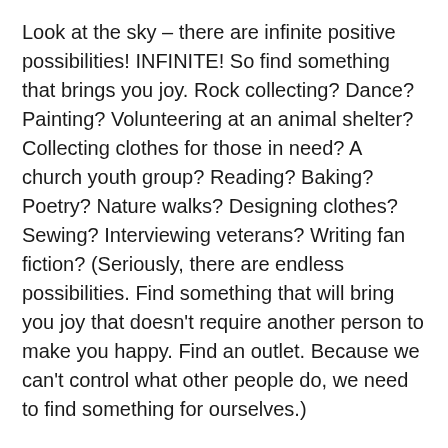Look at the sky – there are infinite positive possibilities! INFINITE! So find something that brings you joy. Rock collecting? Dance? Painting? Volunteering at an animal shelter? Collecting clothes for those in need? A church youth group? Reading? Baking? Poetry? Nature walks? Designing clothes? Sewing? Interviewing veterans? Writing fan fiction? (Seriously, there are endless possibilities. Find something that will bring you joy that doesn't require another person to make you happy. Find an outlet. Because we can't control what other people do, we need to find something for ourselves.)
We hope you find the strength to love yourself and to break those chains of misery that have hurt you. We hope you're able to wake up in the morning and choose compassion and kindness, rather than blame. We hope you'll find ways to be kind and loving to yourself. Take it upon yourself to